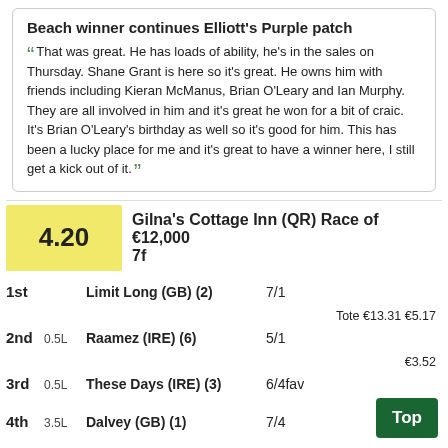Beach winner continues Elliott's Purple patch
That was great. He has loads of ability, he's in the sales on Thursday. Shane Grant is here so it's great. He owns him with friends including Kieran McManus, Brian O'Leary and Ian Murphy. They are all involved in him and it's great he won for a bit of craic. It's Brian O'Leary's birthday as well so it's good for him. This has been a lucky place for me and it's great to have a winner here, I still get a kick out of it.
4.20 Gilna's Cottage Inn (QR) Race of €12,000 7f
| Pos | Margin | Horse | Odds | Tote |
| --- | --- | --- | --- | --- |
| 1st |  | Limit Long (GB) (2) | 7/1 | Tote €13.31 €5.17 |
| 2nd | 0.5L | Raamez (IRE) (6) | 5/1 | €3.52 |
| 3rd | 0.5L | These Days (IRE) (3) | 6/4fav |  |
| 4th | 3.5L | Dalvey (GB) (1) | 7/4 |  |
OFF 4.20. Time 1m. 24.80 secs 6 Ran
Trainer Darren Bunyan
Jockey Mr F Maguire
Tote Exacta-
Tote Trifecta- €200.04